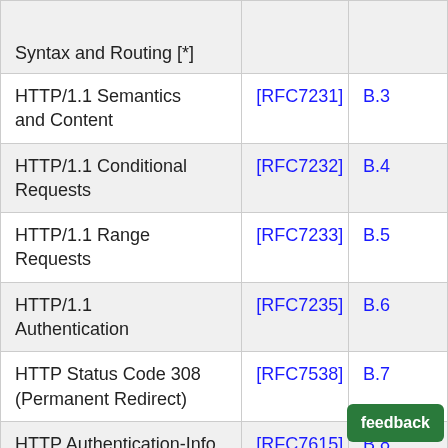|  | [RFC] | Section |
| --- | --- | --- |
| Syntax and Routing [*] |  |  |
| HTTP/1.1 Semantics and Content | [RFC7231] | B.3 |
| HTTP/1.1 Conditional Requests | [RFC7232] | B.4 |
| HTTP/1.1 Range Requests | [RFC7233] | B.5 |
| HTTP/1.1 Authentication | [RFC7235] | B.6 |
| HTTP Status Code 308 (Permanent Redirect) | [RFC7538] | B.7 |
| HTTP Authentication-Info and Proxy-Authentication-Info Response Header Fields | [RFC7615] | B.8 |